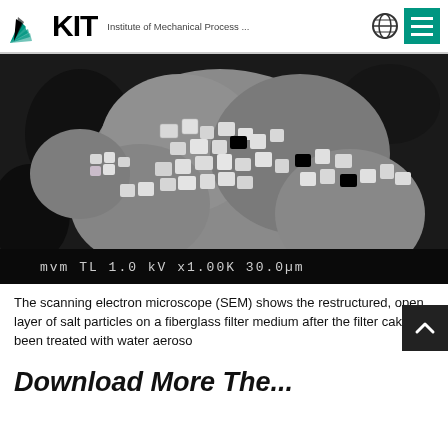KIT — Institute of Mechanical Process ...
[Figure (photo): Scanning electron microscope (SEM) image showing a restructured, open layer of salt particles on a fiberglass filter medium after the filter cake has been treated with water aerosol. Scale bar shows 30.0μm at x1.00K magnification, 1.0 kV.]
The scanning electron microscope (SEM) shows the restructured, open layer of salt particles on a fiberglass filter medium after the filter cake has been treated with water aerosol.
Download More The...